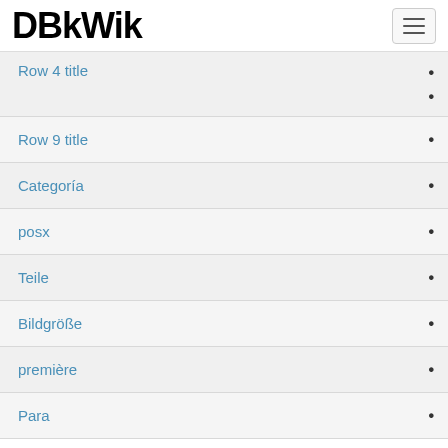DBkWik
Row 4 title
Row 9 title
Categoría
posx
Teile
Bildgröße
première
Para